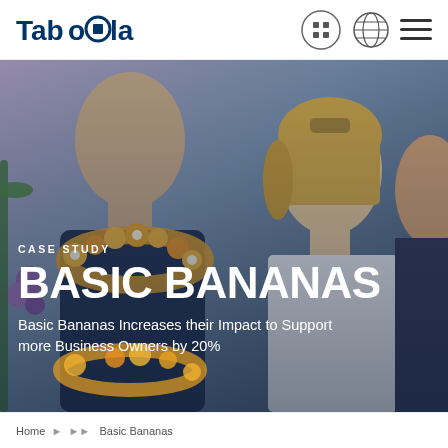Taboola
[Figure (photo): Group of people wearing flower leis at an event, photo used as hero background image]
CASE STUDY
BASIC BANANAS
Basic Bananas Increases their Impact to Support more Business Owners by 20%
Home > Basic Bananas